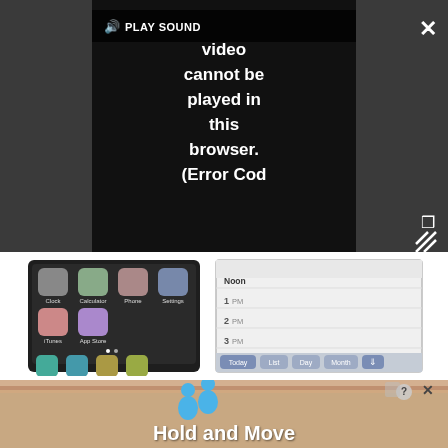[Figure (screenshot): Video player overlay on dark gray background showing error message 'Video cannot be played in this browser. (Error Cod' with PLAY SOUND button and speaker icon. Close (X) button top right, expand arrows bottom right.]
[Figure (screenshot): iPhone home screen showing apps: Clock, Calculator, Phone, Settings, iTunes, App Store, and bottom row icons. Calendar app screenshot showing time slots Noon, 1PM, 2PM, 3PM with Today/List/Day/Month tabs.]
The biggest change overall, however, is integration with over-the-air, wireless syncing via "push". For more details on these, see our already-posted reviews for both Microsoft Exchange ActiveSync and
[Figure (screenshot): Ad banner with blue cartoon figures and text 'Hold and Move' on wood-textured background with close and help icons.]